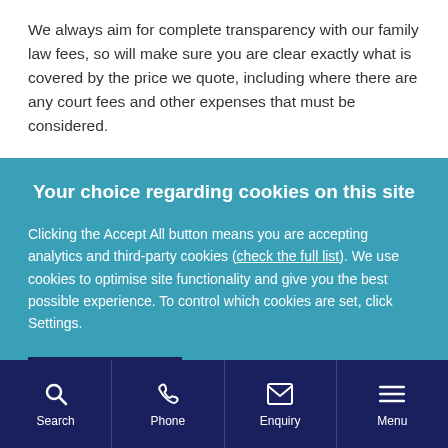We always aim for complete transparency with our family law fees, so will make sure you are clear exactly what is covered by the price we quote, including where there are any court fees and other expenses that must be considered.
Your choice regarding cookies on this site
Clicking the Accept All button means you are accepting analytics and third-party cookies (check the full list). We use cookies to optimise site functionality and give you the best possible experience. To control which cookies are set, click Settings.
Search | Phone | Enquiry | Menu